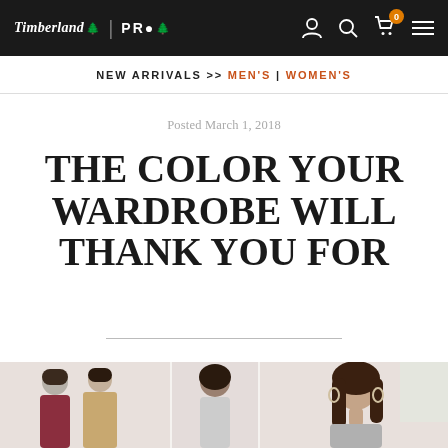Timberland PRO — Navigation bar with logo, search, cart (0), and menu icons
NEW ARRIVALS >> MEN'S | WOMEN'S
Posted March 1, 2018
THE COLOR YOUR WARDROBE WILL THANK YOU FOR
[Figure (photo): Three women in a bright studio setting; left panel shows two women (one in burgundy jacket, one in gold sequin dress), center shows a woman from behind with dark hair, right panel shows a smiling brunette woman with hoop earrings]